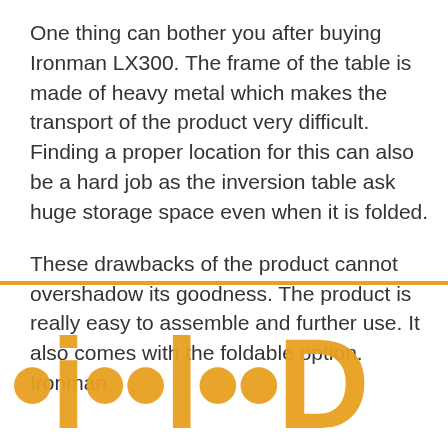One thing can bother you after buying Ironman LX300. The frame of the table is made of heavy metal which makes the transport of the product very difficult. Finding a proper location for this can also be a hard job as the inversion table ask huge storage space even when it is folded.
These drawbacks of the product cannot overshadow its goodness. The product is really easy to assemble and further use. It also comes with the foldable option. Ironman